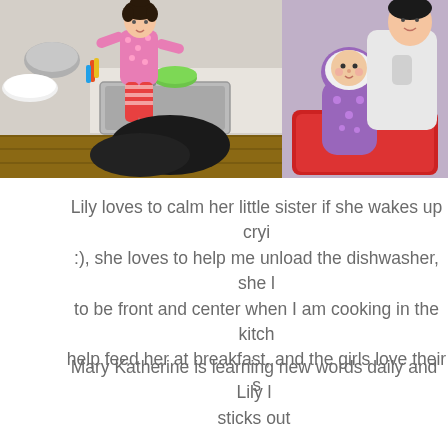[Figure (photo): Two photos side by side. Left photo: a young girl in pink floral pajamas standing at a kitchen sink playing with dishes and utensils, with a green bowl and mixing bowls on the counter. Right photo: a baby/toddler in a purple snowsuit and an adult (partially visible) bundled up in winter clothing, apparently sitting in a red wagon or sled.]
Lily loves to calm her little sister if she wakes up cryi :), she loves to help me unload the dishwasher, she l to be front and center when I am cooking in the kitch help feed her at breakfast, and the girls love their s
Mary Katherine is learning new words daily and Lily l sticks out